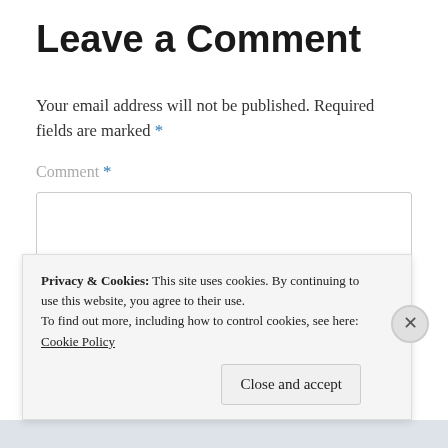Leave a Comment
Your email address will not be published. Required fields are marked *
Comment *
Privacy & Cookies: This site uses cookies. By continuing to use this website, you agree to their use. To find out more, including how to control cookies, see here: Cookie Policy
Close and accept